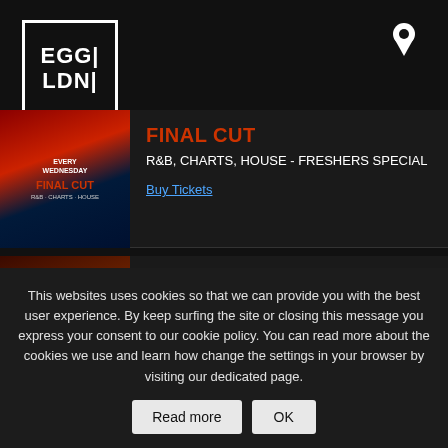EGG LDN
[Figure (logo): EGG LDN logo in white text inside a white-bordered box on dark background]
FINAL CUT
R&B, CHARTS, HOUSE - FRESHERS SPECIAL
Buy Tickets
Fri, 09 Sep 2022 at 23:00
FRIDAYS AT EGG:
ACRAZE
This websites uses cookies so that we can provide you with the best user experience. By keep surfing the site or closing this message you express your consent to our cookie policy. You can read more about the cookies we use and learn how change the settings in your browser by visiting our dedicated page.
Read more  OK